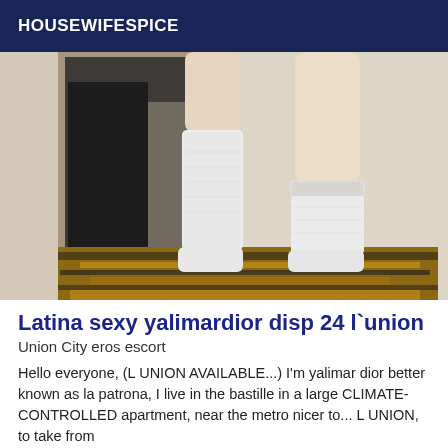HOUSEWIFESPICE
[Figure (photo): Photo of legs wearing white knee-high socks, standing on a tiger-print rug near a mirror]
Latina sexy yalimardior disp 24 l`union
Union City eros escort
Hello everyone, (L UNION AVAILABLE...) I'm yalimar dior better known as la patrona, I live in the bastille in a large CLIMATE-CONTROLLED apartment, near the metro, nicer to... L UNION, to take from